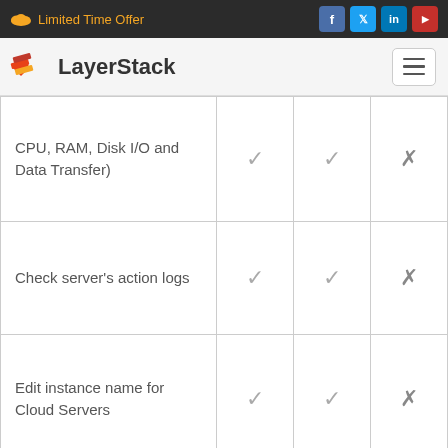Limited Time Offer
[Figure (logo): LayerStack logo with stylized S icon]
| Feature | Plan A | Plan B | Plan C |
| --- | --- | --- | --- |
| CPU, RAM, Disk I/O and Data Transfer) | ✓ | ✓ | ✗ |
| Check server's action logs | ✓ | ✓ | ✗ |
| Edit instance name for Cloud Servers | ✓ | ✓ | ✗ |
| Reset server administrative password | ✓ | ✓ | ✗ |